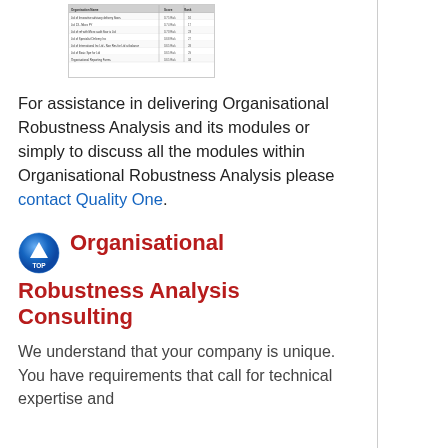[Figure (table-as-image): Small thumbnail image of a table with rows of data, appears to be a reference table or specification table with multiple columns of text and numbers]
For assistance in delivering Organisational Robustness Analysis and its modules or simply to discuss all the modules within Organisational Robustness Analysis please contact Quality One.
Organisational Robustness Analysis Consulting
We understand that your company is unique. You have requirements that call for technical expertise and